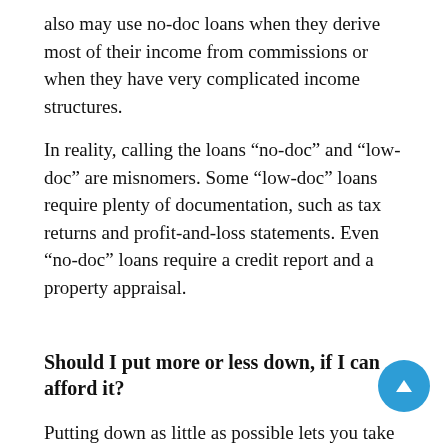also may use no-doc loans when they derive most of their income from commissions or when they have very complicated income structures.
In reality, calling the loans “no-doc” and “low-doc” are misnomers. Some “low-doc” loans require plenty of documentation, such as tax returns and profit-and-loss statements. Even “no-doc” loans require a credit report and a property appraisal.
Should I put more or less down, if I can afford it?
Putting down as little as possible lets you take full advantage of the tax benefits of homeownership. Mortgage interest and property taxes are both fully deductible from state and federal income taxes. Also, making a small down payment frees up cash that you use to meet unexpected home improvements.